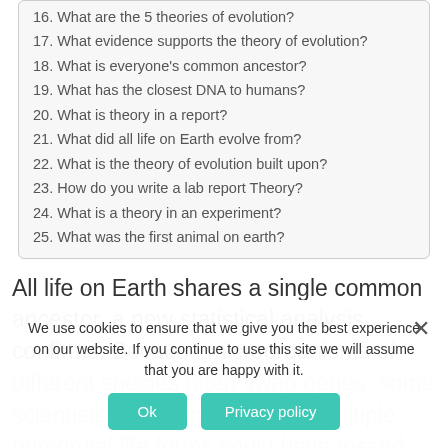16. What are the 5 theories of evolution?
17. What evidence supports the theory of evolution?
18. What is everyone's common ancestor?
19. What has the closest DNA to humans?
20. What is theory in a report?
21. What did all life on Earth evolve from?
22. What is the theory of evolution built upon?
23. How do you write a lab report Theory?
24. What is a theory in an experiment?
25. What was the first animal on earth?
All life on Earth shares a single common ancestor, a new statistical analysis confirms. Because microorganisms of different species often swap genes, some scientists have proposed that multiple primordial life forms could have tossed their genetic material into life’s mix, creating a web rather than a tree of
We use cookies to ensure that we give you the best experience on our website. If you continue to use this site we will assume that you are happy with it.